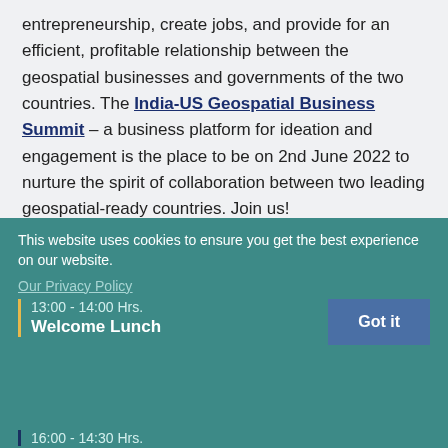entrepreneurship, create jobs, and provide for an efficient, profitable relationship between the geospatial businesses and governments of the two countries. The India-US Geospatial Business Summit – a business platform for ideation and engagement is the place to be on 2nd June 2022 to nurture the spirit of collaboration between two leading geospatial-ready countries. Join us!
AGENDA // JUNE 02, 2022
This website uses cookies to ensure you get the best experience on our website.
Our Privacy Policy
Got it
13:00 - 14:00 Hrs.
Welcome Lunch
16:00 - 14:30 Hrs.